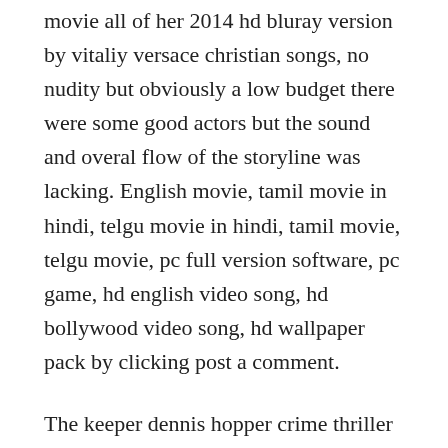movie all of her 2014 hd bluray version by vitaliy versace christian songs, no nudity but obviously a low budget there were some good actors but the sound and overal flow of the storyline was lacking. English movie, tamil movie in hindi, telgu movie in hindi, tamil movie, telgu movie, pc full version software, pc game, hd english video song, hd bollywood video song, hd wallpaper pack by clicking post a comment.
The keeper dennis hopper crime thriller free full movie duration. A the equalizer full movie in...